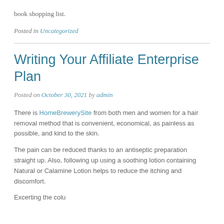book shopping list.
Posted in Uncategorized
Writing Your Affiliate Enterprise Plan
Posted on October 30, 2021 by admin
There is HomeBrewerySite from both men and women for a hair removal method that is convenient, economical, as painless as possible, and kind to the skin.
The pain can be reduced thanks to an antiseptic preparation straight up. Also, following up using a soothing lotion containing Natural or Calamine Lotion helps to reduce the itching and discomfort.
Excerpting the column...